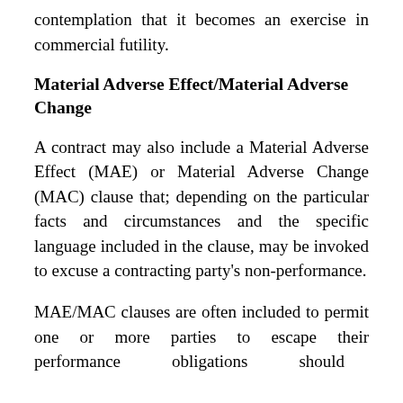contemplation that it becomes an exercise in commercial futility.
Material Adverse Effect/Material Adverse Change
A contract may also include a Material Adverse Effect (MAE) or Material Adverse Change (MAC) clause that; depending on the particular facts and circumstances and the specific language included in the clause, may be invoked to excuse a contracting party's non-performance.
MAE/MAC clauses are often included to permit one or more parties to escape their performance obligations should